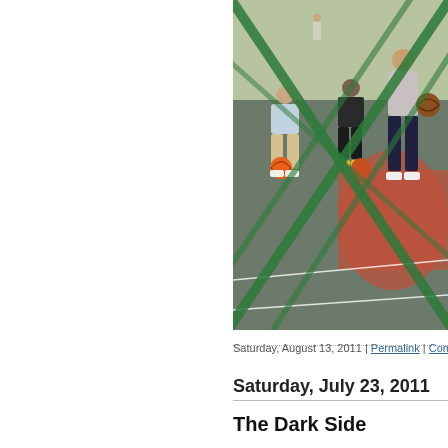[Figure (photo): Basketball players on an outdoor court photographed through a green chain-link fence. Players are dribbling basketballs on a blacktop court with red painted areas. The fence creates diagonal green lines across the foreground.]
Saturday, August 13, 2011 | Permalink | Comments
Saturday, July 23, 2011
The Dark Side